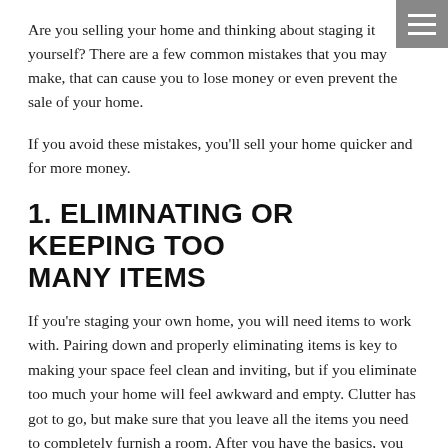Are you selling your home and thinking about staging it yourself? There are a few common mistakes that you may make, that can cause you to lose money or even prevent the sale of your home.
If you avoid these mistakes, you'll sell your home quicker and for more money.
1. ELIMINATING OR KEEPING TOO MANY ITEMS
If you're staging your own home, you will need items to work with. Pairing down and properly eliminating items is key to making your space feel clean and inviting, but if you eliminate too much your home will feel awkward and empty. Clutter has got to go, but make sure that you leave all the items you need to completely furnish a room. After you have the basics, you can throw in extra décor pieces or accent furniture if you want, and if your space allows.